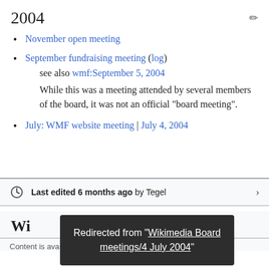2004
November open meeting
September fundraising meeting (log)
see also wmf:September 5, 2004
While this was a meeting attended by several members of the board, it was not an official "board meeting".
July: WMF website meeting | July 4, 2004
Last edited 6 months ago by Tegel
Wi
Content is available under CC BY-SA 3.0 unless otherwise
Redirected from "Wikimedia Board meetings/4 July 2004"